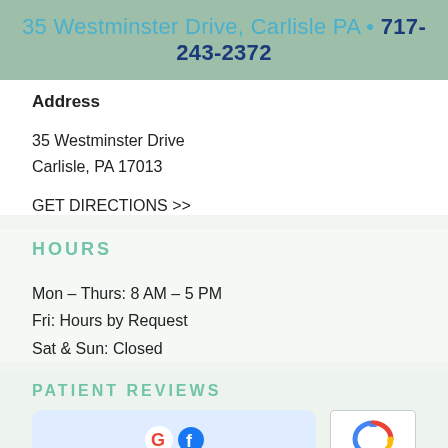35 Westminster Drive, Carlisle PA • 717-243-2372
Address
35 Westminster Drive
Carlisle, PA 17013
GET DIRECTIONS >>
HOURS
Mon – Thurs: 8 AM – 5 PM
Fri: Hours by Request
Sat & Sun: Closed
PATIENT REVIEWS
[Figure (infographic): Google and Facebook combined review card showing 4.8 rating with 5 gold stars]